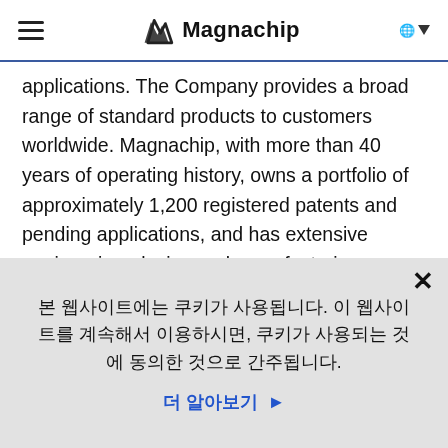Magnachip
applications. The Company provides a broad range of standard products to customers worldwide. Magnachip, with more than 40 years of operating history, owns a portfolio of approximately 1,200 registered patents and pending applications, and has extensive engineering, design and manufacturing process expertise. For more information, please visit www.magnachip.com/kr. Information on or accessible through Magnachip's website
본 웹사이트에는 쿠키가 사용됩니다. 이 웹사이트를 계속해서 이용하시면, 쿠키가 사용되는 것에 동의한 것으로 간주됩니다.
더 알아보기 ▶